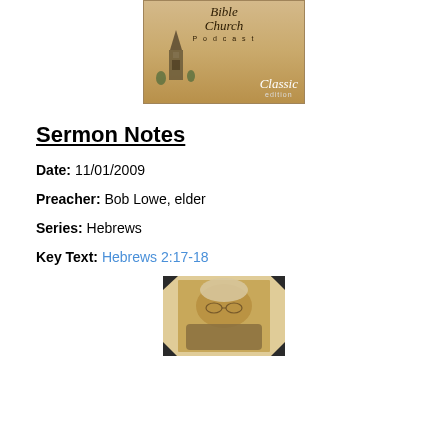[Figure (logo): Bible Church Podcast Classic Edition logo — a church steeple image on a tan/sepia background with 'Bible Church Podcast' text and 'Classic edition' badge]
Sermon Notes
Date: 11/01/2009
Preacher: Bob Lowe, elder
Series: Hebrews
Key Text: Hebrews 2:17-18
[Figure (photo): Sepia-toned photograph of an elderly man with glasses, mounted with photo corners on a tan background]